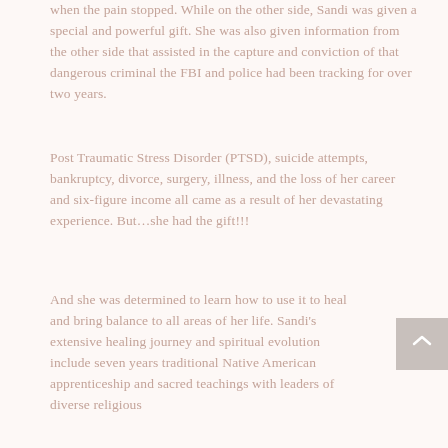when the pain stopped. While on the other side, Sandi was given a special and powerful gift. She was also given information from the other side that assisted in the capture and conviction of that dangerous criminal the FBI and police had been tracking for over two years.
Post Traumatic Stress Disorder (PTSD), suicide attempts, bankruptcy, divorce, surgery, illness, and the loss of her career and six-figure income all came as a result of her devastating experience. But…she had the gift!!!
And she was determined to learn how to use it to heal and bring balance to all areas of her life. Sandi's extensive healing journey and spiritual evolution include seven years traditional Native American apprenticeship and sacred teachings with leaders of diverse religious